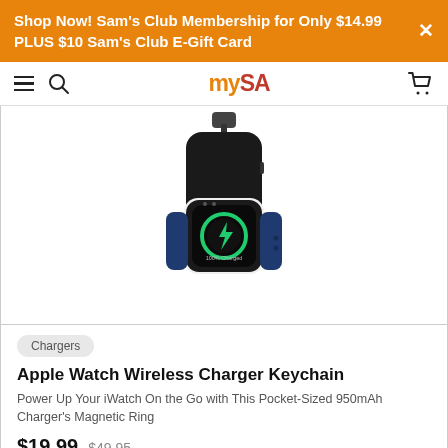Shop Now! Sam's Club Membership for Only $14.99 PLUS $10 Sam's Club E-Gift Card
mySA navigation bar with hamburger menu, search, logo, and cart icons
[Figure (photo): Apple Watch attached to a black keychain wireless charger with navy blue band. The watch screen shows a green charging icon with a lightning bolt and '100% Charged' text.]
Chargers
Apple Watch Wireless Charger Keychain
Power Up Your iWatch On the Go with This Pocket-Sized 950mAh Charger's Magnetic Ring
$19.99  $49.95
★★★★☆  25 Reviews